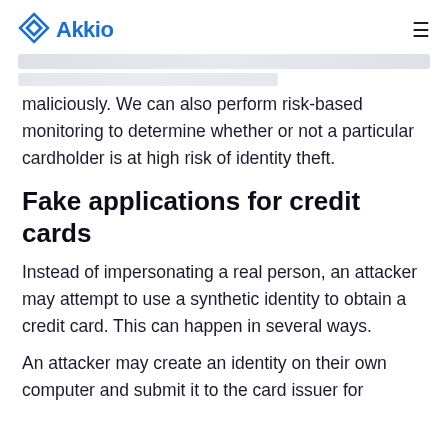Akkio
maliciously. We can also perform risk-based monitoring to determine whether or not a particular cardholder is at high risk of identity theft.
Fake applications for credit cards
Instead of impersonating a real person, an attacker may attempt to use a synthetic identity to obtain a credit card. This can happen in several ways.
An attacker may create an identity on their own computer and submit it to the card issuer for